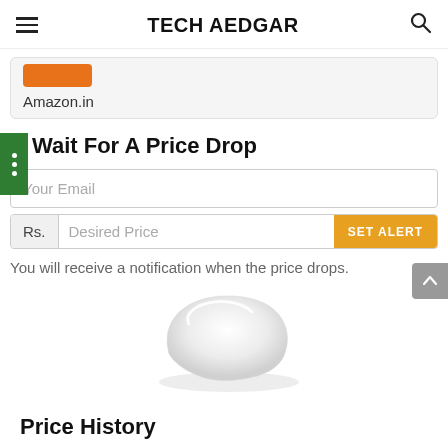TECH AEDGAR
Amazon.in
Wait For A Price Drop
Your Email
Rs. | Desired Price | SET ALERT
You will receive a notification when the price drops.
[Figure (photo): White wireless computer mouse on white background]
Price History